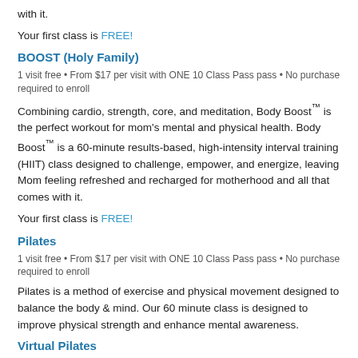with it.
Your first class is FREE!
BOOST (Holy Family)
1 visit free • From $17 per visit with ONE 10 Class Pass pass • No purchase required to enroll
Combining cardio, strength, core, and meditation, Body Boost™ is the perfect workout for mom's mental and physical health. Body Boost™ is a 60-minute results-based, high-intensity interval training (HIIT) class designed to challenge, empower, and energize, leaving Mom feeling refreshed and recharged for motherhood and all that comes with it.
Your first class is FREE!
Pilates
1 visit free • From $17 per visit with ONE 10 Class Pass pass • No purchase required to enroll
Pilates is a method of exercise and physical movement designed to balance the body & mind. Our 60 minute class is designed to improve physical strength and enhance mental awareness.
Virtual Pilates